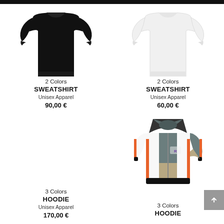[Figure (photo): Black sweatshirt product photo, top portion cropped]
2 Colors
SWEATSHIRT
Unisex Apparel
90,00 €
[Figure (photo): White sweatshirt product photo, top portion cropped]
2 Colors
SWEATSHIRT
Unisex Apparel
60,00 €
3 Colors
HOODIE
Unisex Apparel
170,00 €
[Figure (photo): Colorblock zip-up hoodie with grey, white, beige panels and orange side stripes, Reebok logo]
3 Colors
HOODIE